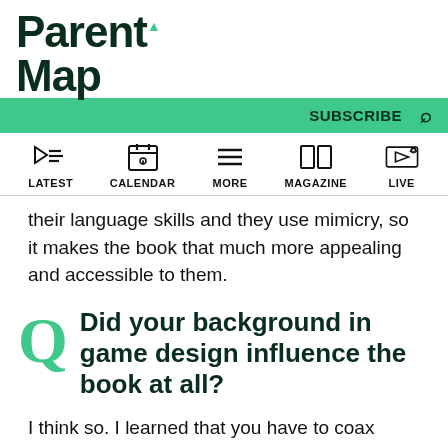ParentMap
[Figure (screenshot): ParentMap website navigation header with logo, green subscribe bar, and icon nav row with LATEST, CALENDAR, MORE, MAGAZINE, LIVE]
their language skills and they use mimicry, so it makes the book that much more appealing and accessible to them.
Did your background in game design influence the book at all?
I think so. I learned that you have to coax players to get into the spirit of the game. If you